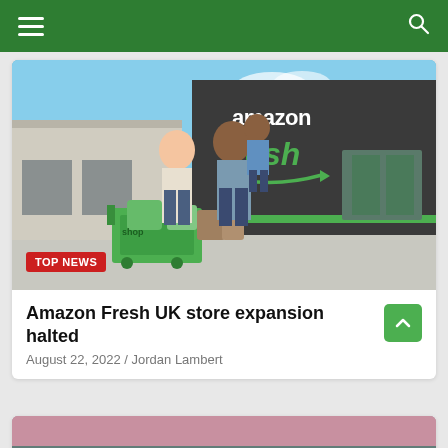Navigation bar with hamburger menu and search icon
[Figure (photo): Amazon Fresh store exterior with a happy family (woman, man, child) pushing a green shopping cart. The store facade shows 'amazon fresh' branding in white and green text. A 'TOP NEWS' red badge overlays the bottom-left of the image.]
Amazon Fresh UK store expansion halted
August 22, 2022 / Jordan Lambert
[Figure (photo): Partial image of a second news article — appears to show a waterfront or lakeside scene at dusk/sunset with purple-pink sky and tree reflections.]